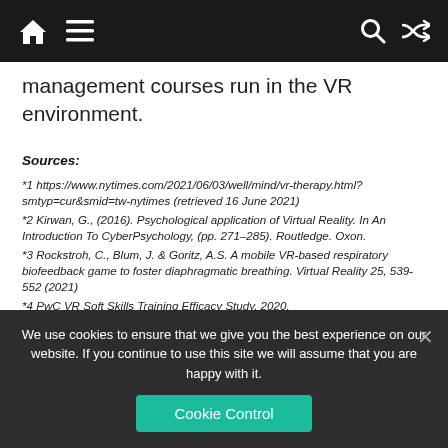Navigation bar with home, menu, search, and shuffle icons
management courses run in the VR environment.
Sources:
*1 https://www.nytimes.com/2021/06/03/well/mind/vr-therapy.html?smtyp=cur&smid=tw-nytimes (retrieved 16 June 2021)
*2 Kirwan, G., (2016). Psychological application of Virtual Reality. In An Introduction To CyberPsychology, (pp. 271–285). Routledge. Oxon.
*3 Rockstroh, C., Blum, J. & Goritz, A.S. A mobile VR-based respiratory biofeedback game to foster diaphragmatic breathing. Virtual Reality 25, 539-552 (2021)
*4 PwC VR Soft Skills Training Efficacy Study, 2020.
*5 Krokos, E., Plaisant, C., & Varshney, A. (2019). Virtual memory palaces: immersion aids recall. Virtual Reality, 23(1), 1-15 & Bailey, J., Bailenson, J. N., Won, A. S., Flora, J., & Armel, K. C. (2012, October). Presence and memory: immersive virtual reality effects on cued
We use cookies to ensure that we give you the best experience on our website. If you continue to use this site we will assume that you are happy with it.
Cookie Control